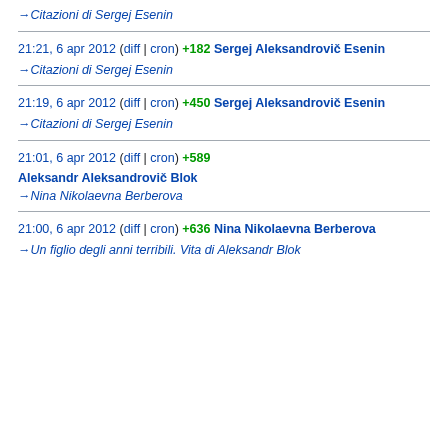→ Citazioni di Sergej Esenin
21:21, 6 apr 2012  (diff | cron)  +182  Sergej Aleksandrovič Esenin
→ Citazioni di Sergej Esenin
21:19, 6 apr 2012  (diff | cron)  +450  Sergej Aleksandrovič Esenin
→ Citazioni di Sergej Esenin
21:01, 6 apr 2012  (diff | cron)  +589
Aleksandr Aleksandrovič Blok
→ Nina Nikolaevna Berberova
21:00, 6 apr 2012  (diff | cron)  +636  Nina Nikolaevna Berberova
→ Un figlio degli anni terribili. Vita di Aleksandr Blok